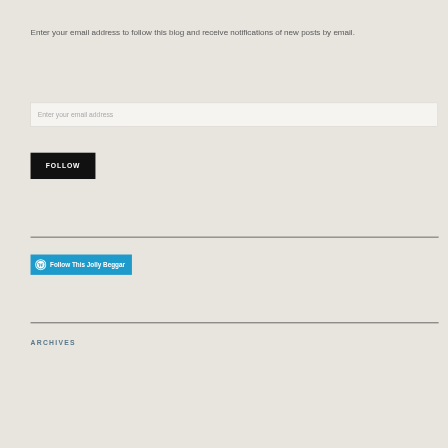Enter your email address to follow this blog and receive notifications of new posts by email.
Enter your email address
FOLLOW
[Figure (logo): WordPress Follow button — blue rounded rectangle with WordPress logo icon and text 'Follow This Jolly Beggar']
ARCHIVES